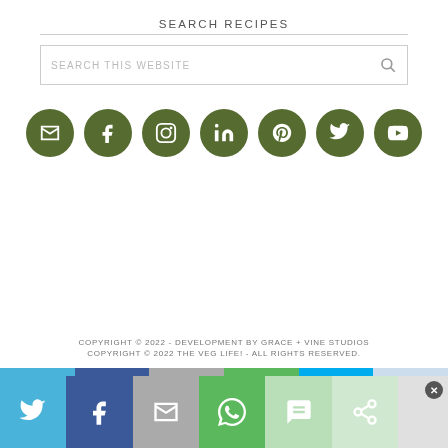SEARCH RECIPES
[Figure (screenshot): Search box with placeholder text 'SEARCH THIS WEBSITE' and a magnifying glass icon]
[Figure (infographic): Row of 7 dark olive green social media icon circles: email, Facebook, Instagram, LinkedIn, Pinterest, Twitter, YouTube]
COPYRIGHT © 2022 - DEVELOPMENT BY GRACE + VINE STUDIOS
COPYRIGHT © 2022 THE VEG LIFE! - ALL RIGHTS RESERVED.
[Figure (infographic): Share bar at bottom with colored segments and social share icons: Twitter, Facebook, Email, WhatsApp, SMS, Share, and a close (X) button]